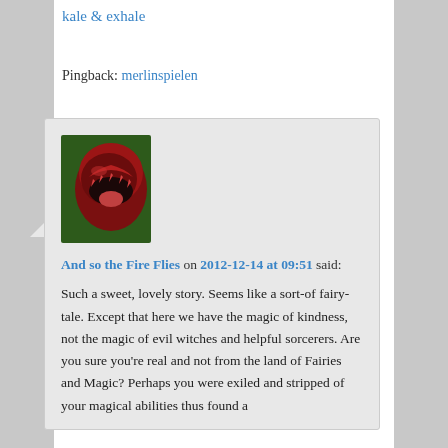kale & exhale
Pingback: merlinspielen
[Figure (photo): Avatar image of a carnivorous plant (pitcher plant) with open red mouth-like structure against green background]
And so the Fire Flies on 2012-12-14 at 09:51 said:
Such a sweet, lovely story. Seems like a sort-of fairy-tale. Except that here we have the magic of kindness, not the magic of evil witches and helpful sorcerers. Are you sure you're real and not from the land of Fairies and Magic? Perhaps you were exiled and stripped of your magical abilities thus found a